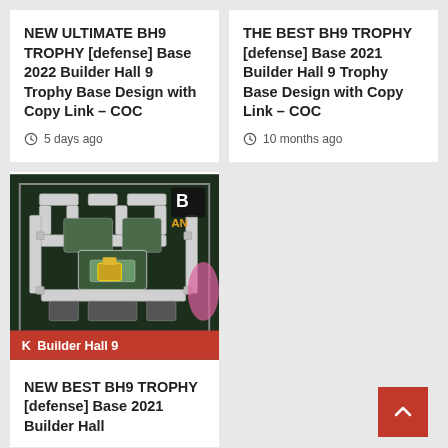NEW ULTIMATE BH9 TROPHY [defense] Base 2022 Builder Hall 9 Trophy Base Design with Copy Link – COC
5 days ago
THE BEST BH9 TROPHY [defense] Base 2021 Builder Hall 9 Trophy Base Design with Copy Link – COC
10 months ago
[Figure (screenshot): Screenshot of a Clash of Clans Builder Hall 9 base layout with a 'Builder Hall 9' red badge overlay]
NEW BEST BH9 TROPHY [defense] Base 2021 Builder Hall